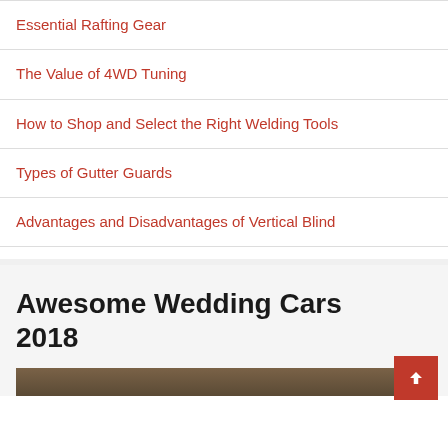Essential Rafting Gear
The Value of 4WD Tuning
How to Shop and Select the Right Welding Tools
Types of Gutter Guards
Advantages and Disadvantages of Vertical Blind
Awesome Wedding Cars 2018
[Figure (photo): Partial image of cars at bottom of page]